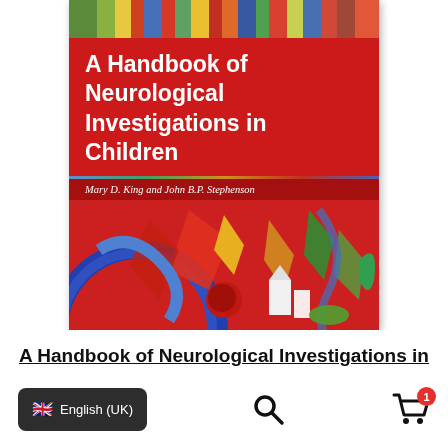[Figure (illustration): Book cover of 'A Handbook of Neurological Investigations in Children' by Mary D. King and John B.P. Stephenson. Red cover with bold white title text, authors in italic below, colorful abstract artwork at top and bottom. Publisher: Mac Keith Press.]
A Handbook of Neurological Investigations in
[Figure (screenshot): Website bottom toolbar showing: English (UK) language selector button with UK flag emoji, a search (magnifying glass) icon, and a shopping cart icon with badge showing '1'.]